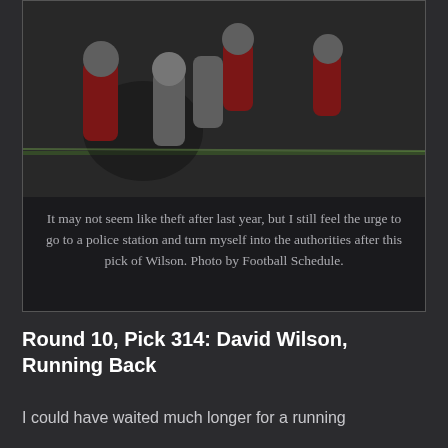[Figure (photo): Football players on the field, with players in red and grey uniforms in action during a game. Green field visible in background.]
It may not seem like theft after last year, but I still feel the urge to go to a police station and turn myself into the authorities after this pick of Wilson. Photo by Football Schedule.
Round 10, Pick 314: David Wilson, Running Back
I could have waited much longer for a running